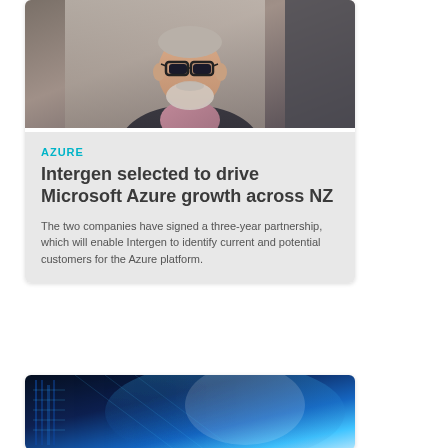[Figure (photo): Portrait photo of a middle-aged man with glasses, grey-white beard, wearing a dark blazer and patterned shirt, standing in a neutral/office background]
AZURE
Intergen selected to drive Microsoft Azure growth across NZ
The two companies have signed a three-year partnership, which will enable Intergen to identify current and potential customers for the Azure platform.
[Figure (photo): Data center or technology background photo with blue tones, server racks and glowing light effects]